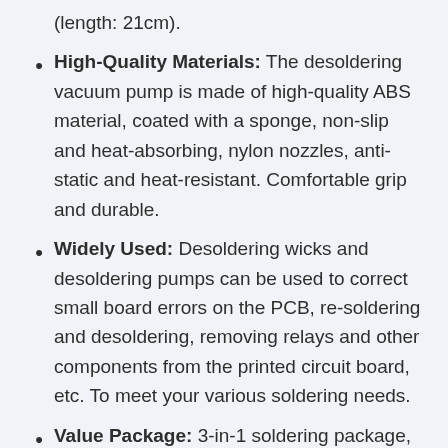(length: 21cm).
High-Quality Materials: The desoldering vacuum pump is made of high-quality ABS material, coated with a sponge, non-slip and heat-absorbing, nylon nozzles, anti-static and heat-resistant. Comfortable grip and durable.
Widely Used: Desoldering wicks and desoldering pumps can be used to correct small board errors on the PCB, re-soldering and desoldering, removing relays and other components from the printed circuit board, etc. To meet your various soldering needs.
Value Package: 3-in-1 soldering package, commonly used soldering tools, improve your work efficiency. 30 days no reason to return or exchange, please feel free to contact us if you have any questions!